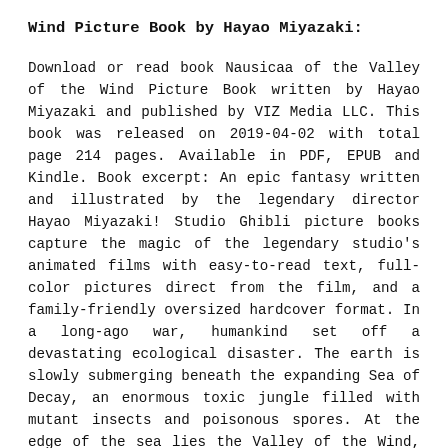Wind Picture Book by Hayao Miyazaki:
Download or read book Nausicaa of the Valley of the Wind Picture Book written by Hayao Miyazaki and published by VIZ Media LLC. This book was released on 2019-04-02 with total page 214 pages. Available in PDF, EPUB and Kindle. Book excerpt: An epic fantasy written and illustrated by the legendary director Hayao Miyazaki! Studio Ghibli picture books capture the magic of the legendary studio's animated films with easy-to-read text, full-color pictures direct from the film, and a family-friendly oversized hardcover format. In a long-ago war, humankind set off a devastating ecological disaster. The earth is slowly submerging beneath the expanding Sea of Decay, an enormous toxic jungle filled with mutant insects and poisonous spores. At the edge of the sea lies the Valley of the Wind, home to Nausicaä, who risks everything to save